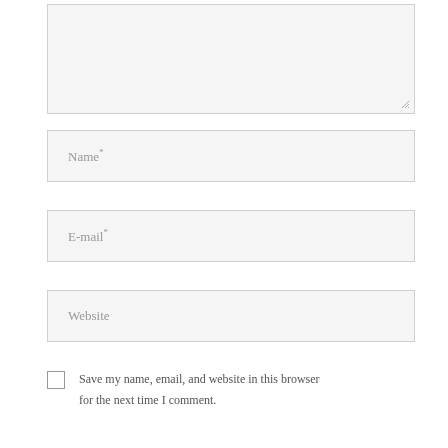[Figure (other): Comment textarea input box with resize handle]
Name*
E-mail*
Website
Save my name, email, and website in this browser for the next time I comment.